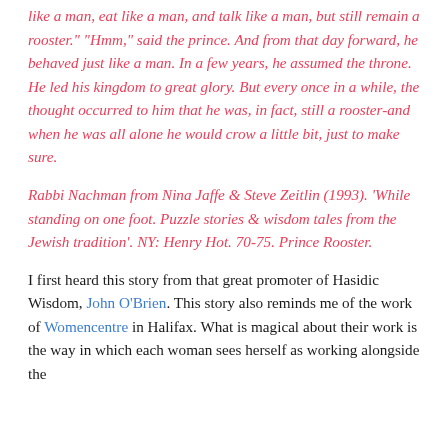like a man, eat like a man, and talk like a man, but still remain a rooster." "Hmm," said the prince. And from that day forward, he behaved just like a man. In a few years, he assumed the throne. He led his kingdom to great glory. But every once in a while, the thought occurred to him that he was, in fact, still a rooster-and when he was all alone he would crow a little bit, just to make sure.
Rabbi Nachman from Nina Jaffe & Steve Zeitlin (1993). 'While standing on one foot. Puzzle stories & wisdom tales from the Jewish tradition'. NY: Henry Hot. 70-75. Prince Rooster.
I first heard this story from that great promoter of Hasidic Wisdom, John O'Brien. This story also reminds me of the work of Womencentre in Halifax. What is magical about their work is the way in which each woman sees herself as working alongside the